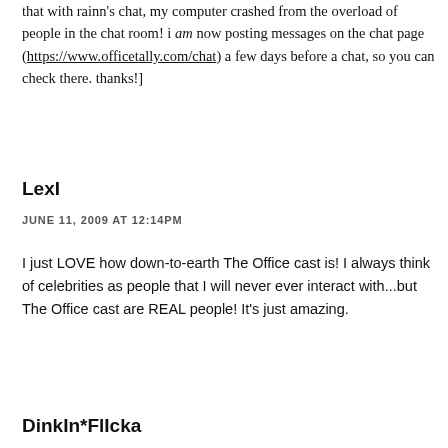that with rainn's chat, my computer crashed from the overload of people in the chat room! i am now posting messages on the chat page (https://www.officetally.com/chat) a few days before a chat, so you can check there. thanks!]
LexI
JUNE 11, 2009 AT 12:14PM
I just LOVE how down-to-earth The Office cast is! I always think of celebrities as people that I will never ever interact with...but The Office cast are REAL people! It's just amazing.
DinkIn*FlIcka